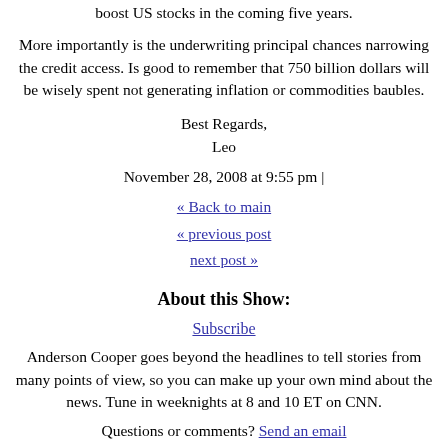boost US stocks in the coming five years.
More importantly is the underwriting principal chances narrowing the credit access. Is good to remember that 750 billion dollars will be wisely spent not generating inflation or commodities baubles.
Best Regards,
Leo
November 28, 2008 at 9:55 pm |
« Back to main
« previous post
next post »
About this Show:
Subscribe
Anderson Cooper goes beyond the headlines to tell stories from many points of view, so you can make up your own mind about the news. Tune in weeknights at 8 and 10 ET on CNN.
Questions or comments? Send an email